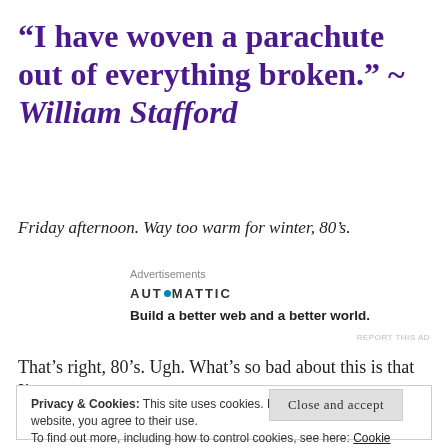“I have woven a parachute out of everything broken.” ~ William Stafford
Friday afternoon. Way too warm for winter, 80’s.
Advertisements
[Figure (logo): Automattic logo with circular dot replacing the O]
Build a better web and a better world.
REPORT THIS AD
That’s right, 80’s. Ugh. What’s so bad about this is that I’m
Privacy & Cookies: This site uses cookies. By continuing to use this website, you agree to their use.
To find out more, including how to control cookies, see here: Cookie Policy
Close and accept